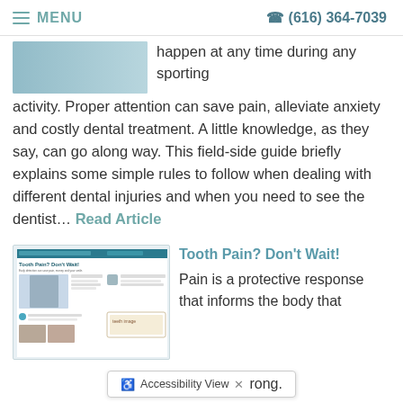MENU   (616) 364-7039
happen at any time during any sporting activity. Proper attention can save pain, alleviate anxiety and costly dental treatment. A little knowledge, as they say, can go along way. This field-side guide briefly explains some simple rules to follow when dealing with different dental injuries and when you need to see the dentist... Read Article
[Figure (photo): Thumbnail image of a dental article about sports injuries]
Tooth Pain? Don't Wait!
Pain is a protective response that informs the body that something is wrong.